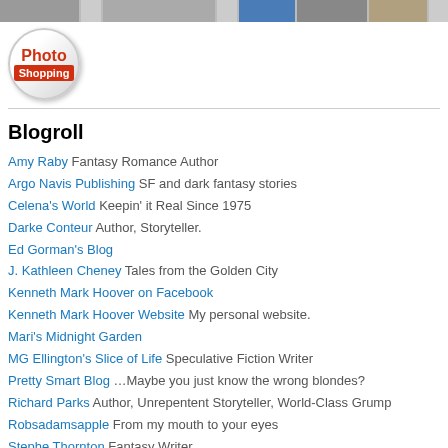[Figure (photo): Strip of thumbnail photos at top of page]
[Figure (logo): Photo Shopping circular logo badge with red and white text]
Blogroll
Amy Raby Fantasy Romance Author
Argo Navis Publishing SF and dark fantasy stories
Celena's World Keepin' it Real Since 1975
Darke Conteur Author, Storyteller.
Ed Gorman's Blog
J. Kathleen Cheney Tales from the Golden City
Kenneth Mark Hoover on Facebook
Kenneth Mark Hoover Website My personal website.
Mari's Midnight Garden
MG Ellington's Slice of Life Speculative Fiction Writer
Pretty Smart Blog …Maybe you just know the wrong blondes?
Richard Parks Author, Unrepentent Storyteller, World-Class Grump
Robsadamsapple From my mouth to your eyes
Stephe Thornton Fantasy Writer